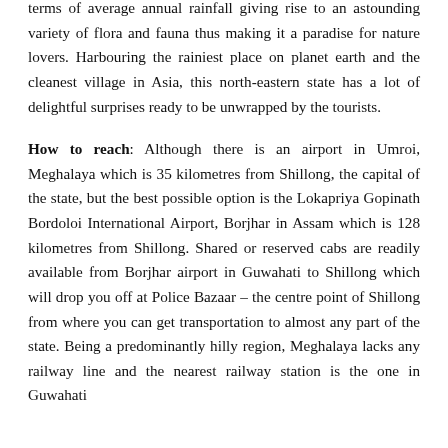terms of average annual rainfall giving rise to an astounding variety of flora and fauna thus making it a paradise for nature lovers. Harbouring the rainiest place on planet earth and the cleanest village in Asia, this north-eastern state has a lot of delightful surprises ready to be unwrapped by the tourists.
How to reach: Although there is an airport in Umroi, Meghalaya which is 35 kilometres from Shillong, the capital of the state, but the best possible option is the Lokapriya Gopinath Bordoloi International Airport, Borjhar in Assam which is 128 kilometres from Shillong. Shared or reserved cabs are readily available from Borjhar airport in Guwahati to Shillong which will drop you off at Police Bazaar – the centre point of Shillong from where you can get transportation to almost any part of the state. Being a predominantly hilly region, Meghalaya lacks any railway line and the nearest railway station is the one in Guwahati